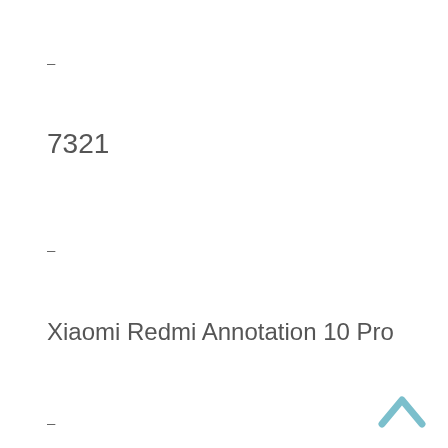–
7321
–
Xiaomi Redmi Annotation 10 Pro
–
–
–
–
–
–
–